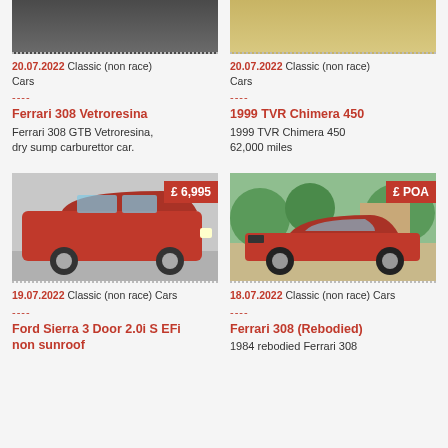[Figure (photo): Partial top of a dark car photo (cropped)]
[Figure (photo): Partial top of a sandy/beige textured surface photo (cropped)]
20.07.2022 Classic (non race) Cars
20.07.2022 Classic (non race) Cars
Ferrari 308 Vetroresina
Ferrari 308 GTB Vetroresina, dry sump carburettor car.
1999 TVR Chimera 450
1999 TVR Chimera 450 62,000 miles
[Figure (photo): Red Ford Sierra 3 Door hatchback parked on gravel, price tag £6,995]
[Figure (photo): Red Ferrari 308 (rebodied) parked in driveway with greenery, price tag £POA]
19.07.2022 Classic (non race) Cars
18.07.2022 Classic (non race) Cars
Ford Sierra 3 Door 2.0i S EFi non sunroof
Ferrari 308 (Rebodied)
1984 rebodied Ferrari 308